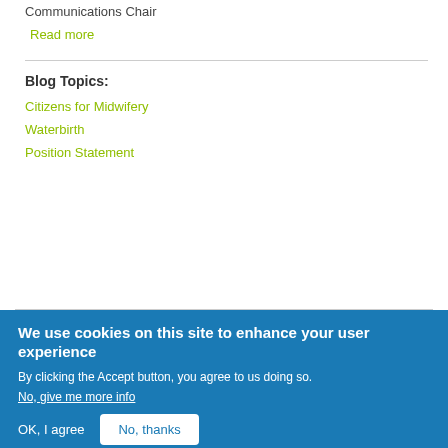Communications Chair
Read more
Blog Topics:
Citizens for Midwifery
Waterbirth
Position Statement
We use cookies on this site to enhance your user experience
By clicking the Accept button, you agree to us doing so.
No, give me more info
OK, I agree
No, thanks